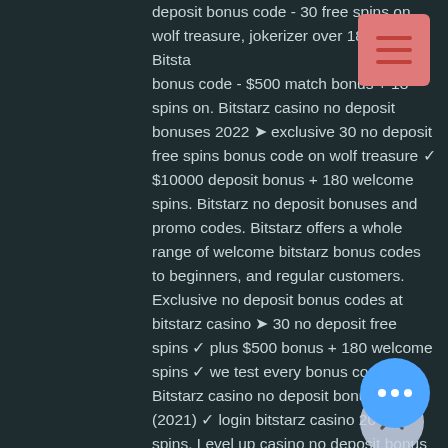deposit bonus code - 30 free spins on wolf treasure, jokerizer over 18 only. Bitstarz bonus code - $500 match bonus + 180 spins on. Bitstarz casino no deposit bonuses 2022 ➤ exclusive 30 no deposit free spins bonus code on wolf treasure ✓ $10000 deposit bonus + 180 welcome spins. Bitstarz no deposit bonuses and promo codes. Bitstarz offers a whole range of welcome bitstarz bonus codes to beginners, and regular customers. Exclusive no deposit bonus codes at bitstarz casino ➤ 30 no deposit free spins ✓ plus $500 bonus + 180 welcome spins ✓ we test every bonus code! Bitstarz casino no deposit bonus codes (2021) ✓ login bitstarz casino 20 free spins. Level up casino no deposit bonus – 25 free spins on wolf treasure slot. But then, do you need a bitstarz casino bonus code for the reward? Established: 2014 · country: c · support: support@bitstarz. Minimum deposit: $20 · deposit bonus: 20. No deposit